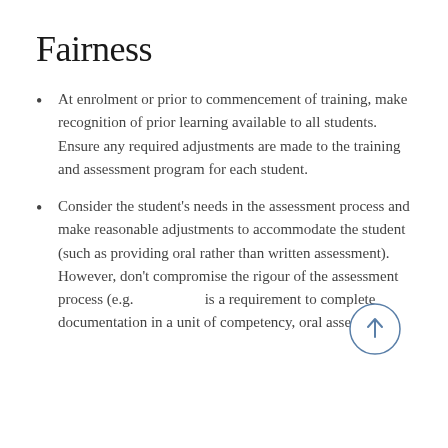Fairness
At enrolment or prior to commencement of training, make recognition of prior learning available to all students. Ensure any required adjustments are made to the training and assessment program for each student.
Consider the student's needs in the assessment process and make reasonable adjustments to accommodate the student (such as providing oral rather than written assessment). However, don't compromise the rigour of the assessment process (e.g. is a requirement to complete documentation in a unit of competency, oral assessment